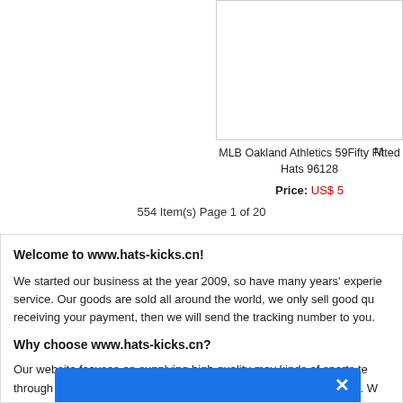[Figure (photo): Product image box for MLB Oakland Athletics hat, partially visible on left side]
MLB Oakland Athletics 59Fifty Fitted Hats 96128
Price: US$ 5
554 Item(s) Page 1 of 20
Welcome to www.hats-kicks.cn!
We started our business at the year 2009, so have many years' experience service. Our goods are sold all around the world, we only sell good qua receiving your payment, then we will send the tracking number to you.
Why choose www.hats-kicks.cn?
Our website focuses on supplying high quality may kinds of sports tea through considerate service, competitive price and top-class quality. W cheap goods on our store for you. Welcome ood